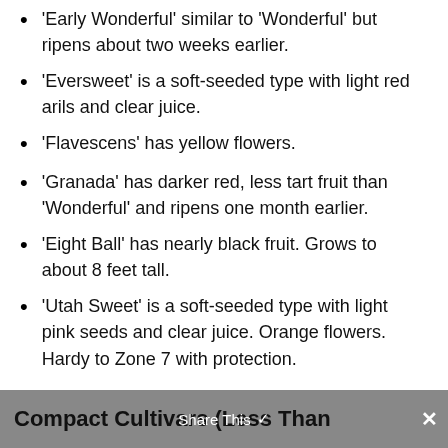'Early Wonderful' similar to 'Wonderful' but ripens about two weeks earlier.
'Eversweet' is a soft-seeded type with light red arils and clear juice.
'Flavescens' has yellow flowers.
'Granada' has darker red, less tart fruit than 'Wonderful' and ripens one month earlier.
'Eight Ball' has nearly black fruit. Grows to about 8 feet tall.
'Utah Sweet' is a soft-seeded type with light pink seeds and clear juice. Orange flowers. Hardy to Zone 7 with protection.
Compact Cultivars (Less Than